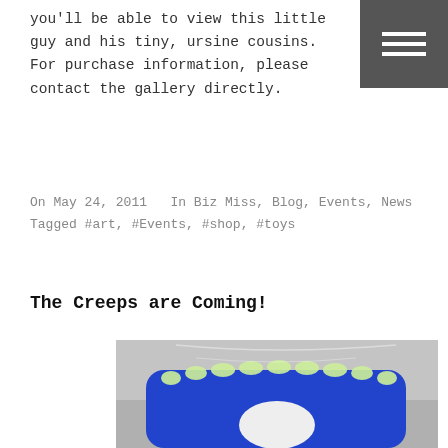you'll be able to view this little guy and his tiny, ursine cousins.  For purchase information, please contact the gallery directly.
On May 24, 2011   In Biz Miss, Blog, Events, News   Tagged #art, #Events, #shop, #toys
The Creeps are Coming!
[Figure (photo): Photo of a blue toy/art object in a clear plastic zip-lock bag, showing a small blue figure with light green decorative elements and a white circular area, placed against a gray background.]